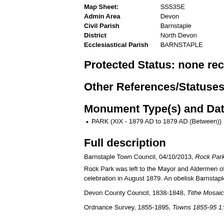| Map Sheet: | SS53SE |
| Admin Area | Devon |
| Civil Parish | Barnstaple |
| District | North Devon |
| Ecclesiastical Parish | BARNSTAPLE |
Protected Status: none recorded
Other References/Statuses: nor
Monument Type(s) and Dates
PARK (XIX - 1879 AD to 1879 AD (Between))
Full description
Barnstaple Town Council, 04/10/2013, Rock Park (
Rock Park was left to the Mayor and Aldermen of B cottages, a factory and yard and an old limekiln we great public celebration in August 1879. An obelisk Barnstaple Town Council and managed by the Roc
Devon County Council, 1838-1848, Tithe Mosaic, a Timber yard shown in north-west corner, and sever
Ordnance Survey, 1855-1895, Towns 1855-95 1:50 "Rock Park" marked.